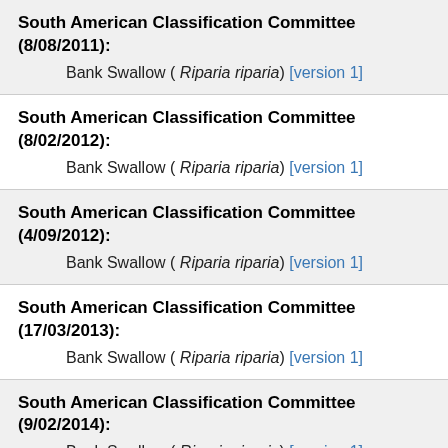South American Classification Committee (8/08/2011):
Bank Swallow ( Riparia riparia) [version 1]
South American Classification Committee (8/02/2012):
Bank Swallow ( Riparia riparia) [version 1]
South American Classification Committee (4/09/2012):
Bank Swallow ( Riparia riparia) [version 1]
South American Classification Committee (17/03/2013):
Bank Swallow ( Riparia riparia) [version 1]
South American Classification Committee (9/02/2014):
Bank Swallow ( Riparia riparia) [version 1]